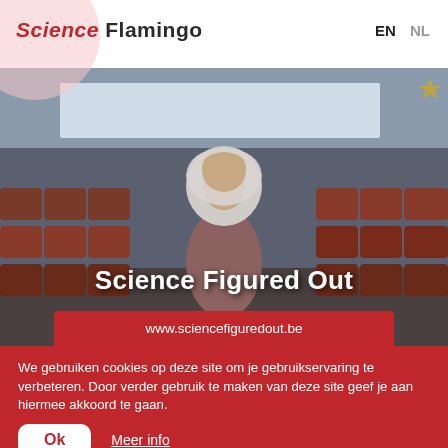Science Flamingo   EN  NL
[Figure (photo): Video thumbnail showing a woman in a hijab sitting in a lecture hall with red/brown theater seats. Overlaid text reads 'Science Figured Out' and a red button shows 'www.sciencefiguredout.be']
We gebruiken cookies op deze site om je gebruikservaring te verbeteren. Door verder gebruik te maken van deze site geef je aan hiermee akkoord te gaan.
Ok   Meer info